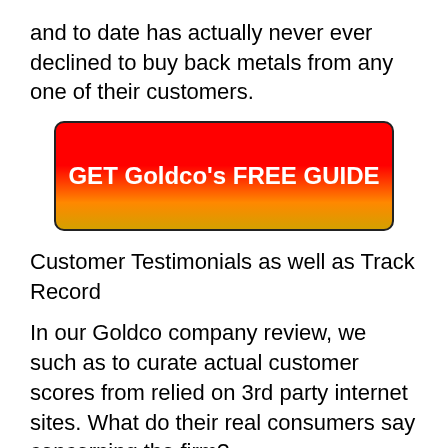and to date has actually never ever declined to buy back metals from any one of their customers.
[Figure (other): Red to orange-yellow gradient button with text 'GET Goldco's FREE GUIDE']
Customer Testimonials as well as Track Record
In our Goldco company review, we such as to curate actual customer scores from relied on 3rd party internet sites. What do their real consumers say concerning the firm?
Pros and Cons?